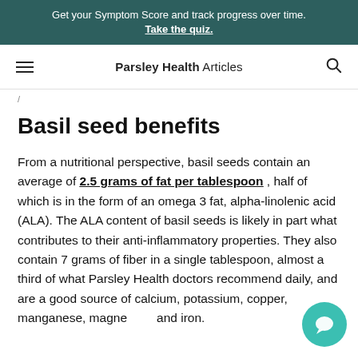Get your Symptom Score and track progress over time. Take the quiz.
Parsley Health Articles
/
Basil seed benefits
From a nutritional perspective, basil seeds contain an average of 2.5 grams of fat per tablespoon , half of which is in the form of an omega 3 fat, alpha-linolenic acid (ALA). The ALA content of basil seeds is likely in part what contributes to their anti-inflammatory properties. They also contain 7 grams of fiber in a single tablespoon, almost a third of what Parsley Health doctors recommend daily, and are a good source of calcium, potassium, copper, manganese, magnesium, and iron.